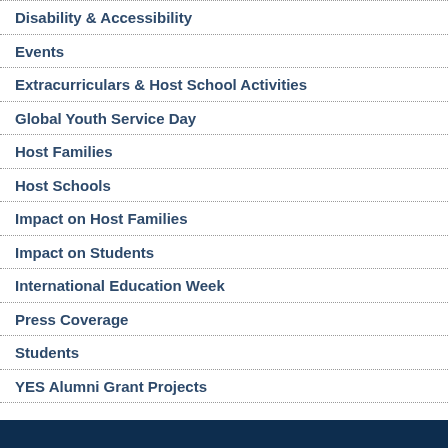Disability & Accessibility
Events
Extracurriculars & Host School Activities
Global Youth Service Day
Host Families
Host Schools
Impact on Host Families
Impact on Students
International Education Week
Press Coverage
Students
YES Alumni Grant Projects